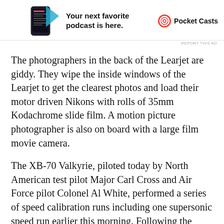[Figure (screenshot): Advertisement banner for Pocket Casts podcast app, showing a phone screenshot, bold text 'Your next favorite podcast is here.', and the Pocket Casts logo with name.]
The photographers in the back of the Learjet are giddy. They wipe the inside windows of the Learjet to get the clearest photos and load their motor driven Nikons with rolls of 35mm Kodachrome slide film. A motion picture photographer is also on board with a large film movie camera.
The XB-70 Valkyrie, piloted today by North American test pilot Major Carl Cross and Air Force pilot Colonel Al White, performed a series of speed calibration runs including one supersonic speed run earlier this morning. Following the flight data and calibration test runs the Valkyrie joins up with the photo shoot formation as they are